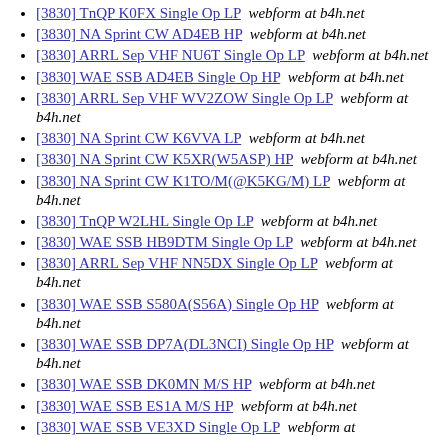[3830] TnQP K0FX Single Op LP  webform at b4h.net
[3830] NA Sprint CW AD4EB HP  webform at b4h.net
[3830] ARRL Sep VHF NU6T Single Op LP  webform at b4h.net
[3830] WAE SSB AD4EB Single Op HP  webform at b4h.net
[3830] ARRL Sep VHF WV2ZOW Single Op LP  webform at b4h.net
[3830] NA Sprint CW K6VVA LP  webform at b4h.net
[3830] NA Sprint CW K5XR(W5ASP) HP  webform at b4h.net
[3830] NA Sprint CW K1TO/M(@K5KG/M) LP  webform at b4h.net
[3830] TnQP W2LHL Single Op LP  webform at b4h.net
[3830] WAE SSB HB9DTM Single Op LP  webform at b4h.net
[3830] ARRL Sep VHF NN5DX Single Op LP  webform at b4h.net
[3830] WAE SSB S580A(S56A) Single Op HP  webform at b4h.net
[3830] WAE SSB DP7A(DL3NCI) Single Op HP  webform at b4h.net
[3830] WAE SSB DK0MN M/S HP  webform at b4h.net
[3830] WAE SSB ES1A M/S HP  webform at b4h.net
[3830] WAE SSB VE3XD Single Op LP  webform at